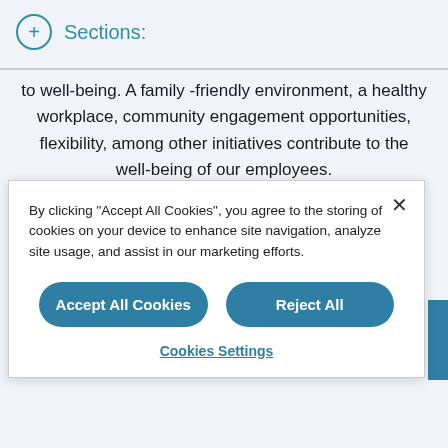Sections:
to well-being. A family -friendly environment, a healthy workplace, community engagement opportunities, flexibility, among other initiatives contribute to the well-being of our employees.
By clicking "Accept All Cookies", you agree to the storing of cookies on your device to enhance site navigation, analyze site usage, and assist in our marketing efforts.
Accept All Cookies
Reject All
Cookies Settings